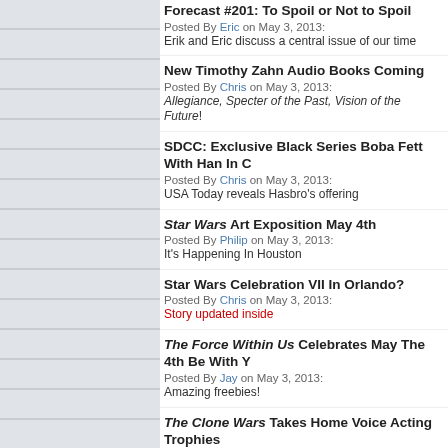Forecast #201: To Spoil or Not to Spoil — Posted By Eric on May 3, 2013: Erik and Eric discuss a central issue of our time
New Timothy Zahn Audio Books Coming — Posted By Chris on May 3, 2013: Allegiance, Specter of the Past, Vision of the Future!
SDCC: Exclusive Black Series Boba Fett With Han In C... — Posted By Chris on May 3, 2013: USA Today reveals Hasbro's offering
Star Wars Art Exposition May 4th — Posted By Philip on May 3, 2013: It's Happening In Houston
Star Wars Celebration VII In Orlando? — Posted By Chris on May 3, 2013: Story updated inside
The Force Within Us Celebrates May The 4th Be With Y... — Posted By Jay on May 3, 2013: Amazing freebies!
The Clone Wars Takes Home Voice Acting Trophies — Posted By Eric on May 2, 2013: Series wins People's Choice for Best TV Vocal Ensemble
Star Wars Origami Free May 4th Download — Posted By Dustin on May 2, 2013: Workman Publishing Posts Fun Freebie
May The FETT Be With You — Posted By Dustin on May 2, 2013: The Dented Helmet / MIMOBOT giveaway!
Mimoco: New Mimobot Coming May 4th — Posted By Chris on May 2, 2013: Who will it be?